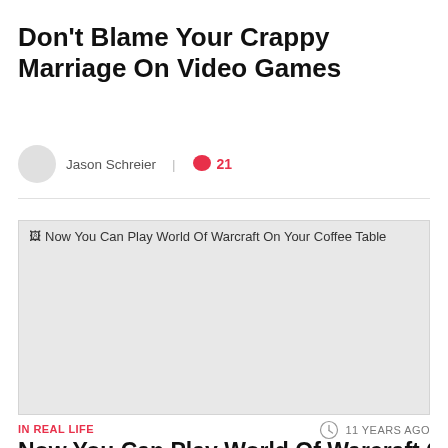Don't Blame Your Crappy Marriage On Video Games
Jason Schreier | 21
[Figure (photo): Broken/unloaded image placeholder with alt text: Now You Can Play World Of Warcraft On Your Coffee Table]
IN REAL LIFE
11 YEARS AGO
Now You Can Play World Of Warcraft On Yo...